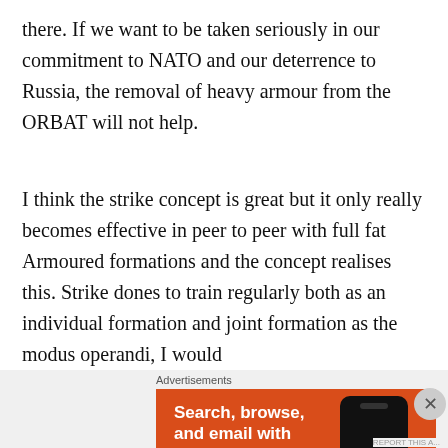there. If we want to be taken seriously in our commitment to NATO and our deterrence to Russia, the removal of heavy armour from the ORBAT will not help.
I think the strike concept is great but it only really becomes effective in peer to peer with full fat Armoured formations and the concept realises this. Strike dones to train regularly both as an individual formation and joint formation as the modus operandi, I would
[Figure (other): DuckDuckGo advertisement banner with orange background showing 'Search, browse, and email with more privacy. All in One Free App' with an image of a smartphone displaying the DuckDuckGo app logo.]